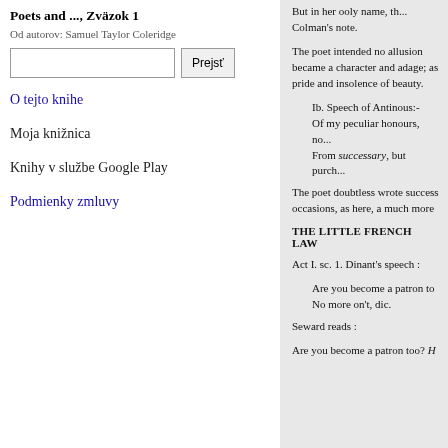Poets and ..., Zväzok 1
Od autorov: Samuel Taylor Coleridge
O tejto knihe
Moja knižnica
Knihy v službe Google Play
Podmienky zmluvy
But in her ooly name, th... Colman's note.
The poet intended no allusion became a character and adage; as pride and insolence of beauty.
Ib. Speech of Antinous:- Of my peculiar honours, no... From successary, but purch...
The poet doubtless wrote success occasions, as here, a much more
THE LITTLE FRENCH LAW
Act I. sc. 1. Dinant's speech :
Are you become a patron to No more on't, dic.
Seward reads :
Are you become a patron too? H